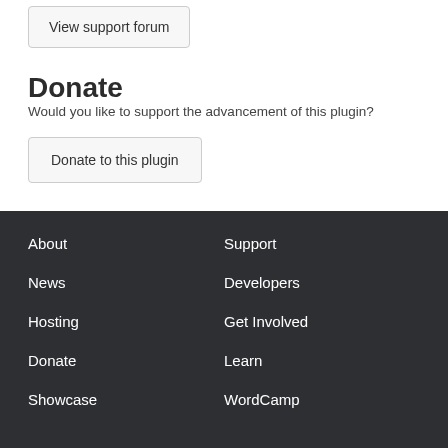View support forum
Donate
Would you like to support the advancement of this plugin?
Donate to this plugin
About
Support
News
Developers
Hosting
Get Involved
Donate
Learn
Showcase
WordCamp